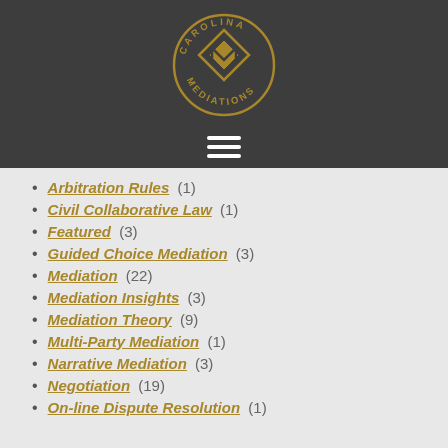[Figure (logo): Carolina Mediations circular logo with diamond/mountain geometric shape in gold on dark grey background]
Arbitration Rules (1)
Civil Collaborative Law (1)
Featured (3)
Guided Choice Mediation (3)
Mediation (22)
Mediation Insights (3)
Mediation Theory (9)
Multi-Party Mediation (1)
Narrative Mediation (3)
Negotiation (19)
On-line Dispute Resolution (1)